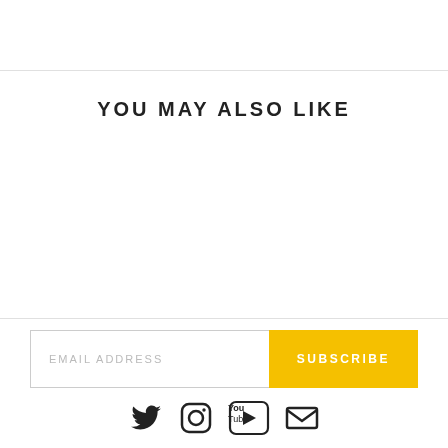YOU MAY ALSO LIKE
EMAIL ADDRESS
SUBSCRIBE
[Figure (infographic): Social media icons: Twitter, Instagram, YouTube, Email]